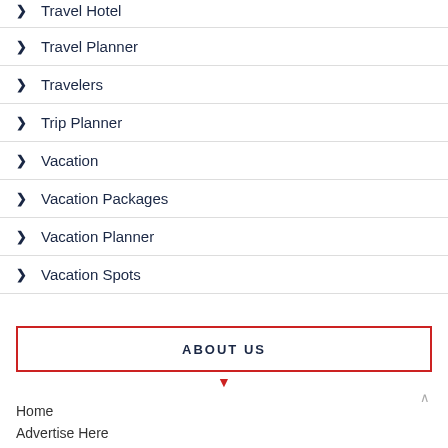Travel Hotel
Travel Planner
Travelers
Trip Planner
Vacation
Vacation Packages
Vacation Planner
Vacation Spots
ABOUT US
Home
Advertise Here
Contact Us